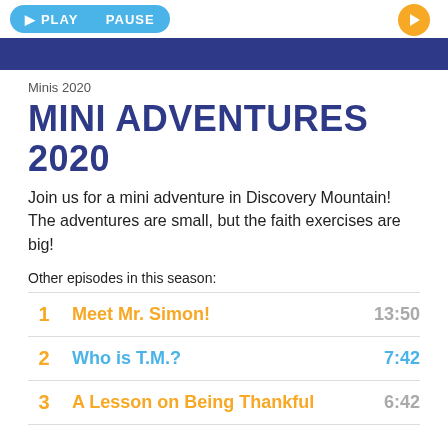Minis 2020
MINI ADVENTURES 2020
Join us for a mini adventure in Discovery Mountain! The adventures are small, but the faith exercises are big!
Other episodes in this season:
1  Meet Mr. Simon!  13:50
2  Who is T.M.?  7:42
3  A Lesson on Being Thankful  6:42